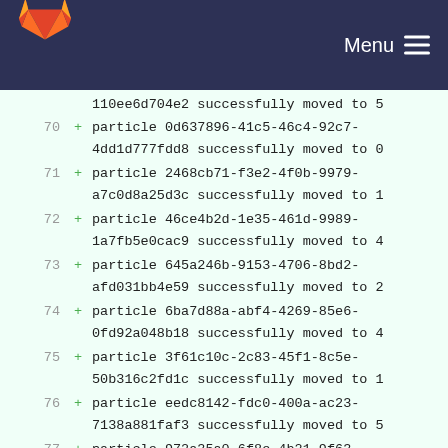GitLab — Menu
110ee6d704e2 successfully moved to 5
70 + particle 0d637896-41c5-46c4-92c7-4dd1d777fdd8 successfully moved to 0
71 + particle 2468cb71-f3e2-4f0b-9979-a7c0d8a25d3c successfully moved to 1
72 + particle 46ce4b2d-1e35-461d-9989-1a7fb5e0cac9 successfully moved to 4
73 + particle 645a246b-9153-4706-8bd2-afd031bb4e59 successfully moved to 2
74 + particle 6ba7d88a-abf4-4269-85e6-0fd92a048b18 successfully moved to 4
75 + particle 3f61c10c-2c83-45f1-8c5e-50b316c2fd1c successfully moved to 1
76 + particle eedc8142-fdc0-400a-ac23-7138a881faf3 successfully moved to 5
77 + particle 972a35a0-6f8e-4b21-9f63-d3688dfe6625 successfully moved to 1
78 + particle 9e621c14-804f-4518-9b2b-d9949aa5782c successfully moved to 4
79 + particle 255b9e5c-09b1-46e6-a24e-...